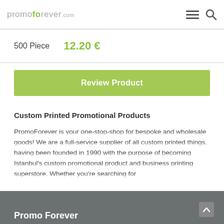promoforever.com
500 Piece   12.20 €
Review Product
Custom Printed Promotional Products
PromoForever is your one-stop-shop for bespoke and wholesale goods! We are a full-service supplier of all custom printed things, having been founded in 1990 with the purpose of becoming Istanbul's custom promotional product and business printing superstore. Whether you're searching for
Show More
Promo Forever